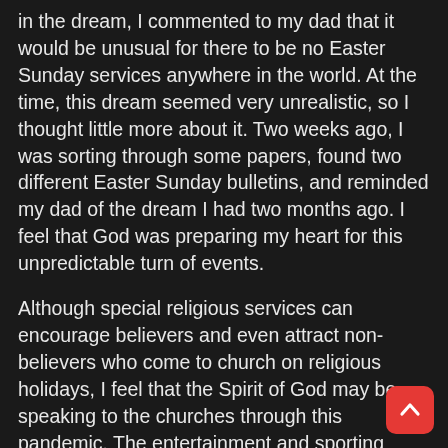in the dream, I commented to my dad that it would be unusual for there to be no Easter Sunday services anywhere in the world. At the time, this dream seemed very unrealistic, so I thought little more about it. Two weeks ago, I was sorting through some papers, found two different Easter Sunday bulletins, and reminded my dad of the dream I had two months ago. I feel that God was preparing my heart for this unpredictable turn of events.
Although special religious services can encourage believers and even attract non-believers who come to church on religious holidays, I feel that the Spirit of God may be speaking to the churches through this pandemic. The entertainment and sporting venues have widely been shut down. Even churches are primarily closed, with the exception of online services. Perhaps God is using this “pause” to allow us time to listen to His leading. A.W. Tozer said, “Sometimes I think the church would be better off if we would call a moratorium on activity for about six weeks and just wait on God to see what He is